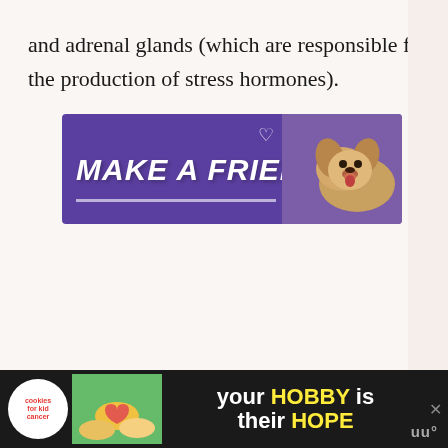and adrenal glands (which are responsible for the production of stress hormones).
[Figure (other): Advertisement banner with purple background reading 'MAKE A FRIEND' in large italic white text with an image of a dog on the right side and heart icons]
[Figure (other): Bottom advertisement banner on dark background featuring cookies for kid cancer logo, image of hands holding a heart-shaped cookie, and text 'your HOBBY is their HOPE']